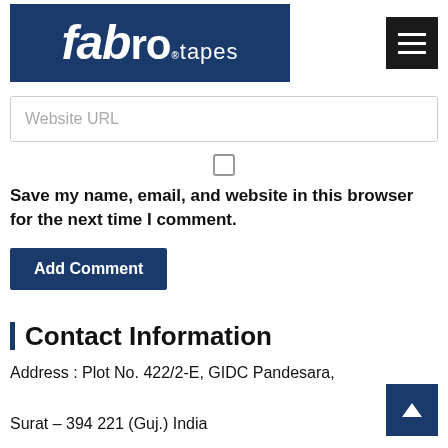[Figure (logo): Fabro Tapes company logo — white text on dark blue background with 'fabro tapes' branding and hamburger menu icon]
Website URL
[Figure (other): Unchecked checkbox]
Save my name, email, and website in this browser for the next time I comment.
Add Comment
Contact Information
Address : Plot No. 422/2-E, GIDC Pandesara, Surat – 394 221 (Guj.) India